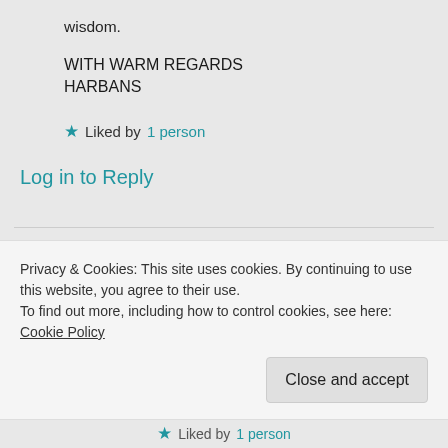wisdom.
WITH WARM REGARDS
HARBANS
★ Liked by 1 person
Log in to Reply
Didis Art Design on 10/08/2018 at 07:15
Privacy & Cookies: This site uses cookies. By continuing to use this website, you agree to their use.
To find out more, including how to control cookies, see here: Cookie Policy
Close and accept
★ Liked by 1 person